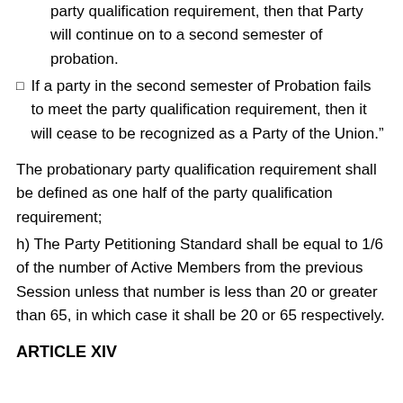party qualification requirement, then that Party will continue on to a second semester of probation.
If a party in the second semester of Probation fails to meet the party qualification requirement, then it will cease to be recognized as a Party of the Union."
The probationary party qualification requirement shall be defined as one half of the party qualification requirement;
h) The Party Petitioning Standard shall be equal to 1/6 of the number of Active Members from the previous Session unless that number is less than 20 or greater than 65, in which case it shall be 20 or 65 respectively.
ARTICLE XIV